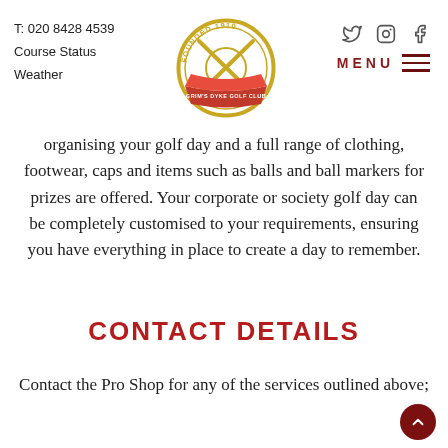T: 020 8428 4539
Course Status
Weather
[Figure (logo): Grim's Dyke Golf Club circular logo with crossed golf clubs, founded 1910, with red ribbon banner]
Social icons (Twitter, Instagram, Facebook) and MENU
organising your golf day and a full range of clothing, footwear, caps and items such as balls and ball markers for prizes are offered. Your corporate or society golf day can be completely customised to your requirements, ensuring you have everything in place to create a day to remember.
CONTACT DETAILS
Contact the Pro Shop for any of the services outlined above;